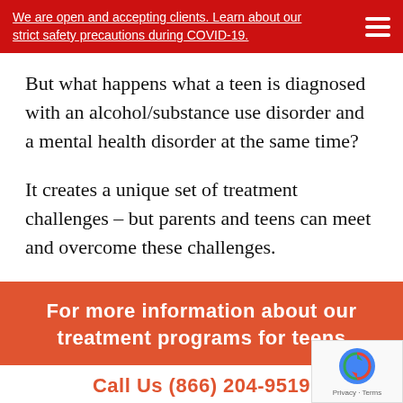We are open and accepting clients. Learn about our strict safety precautions during COVID-19.
But what happens what a teen is diagnosed with an alcohol/substance use disorder and a mental health disorder at the same time?
It creates a unique set of treatment challenges – but parents and teens can meet and overcome these challenges.
For more information about our treatment programs for teens
Call Us (866) 204-9519